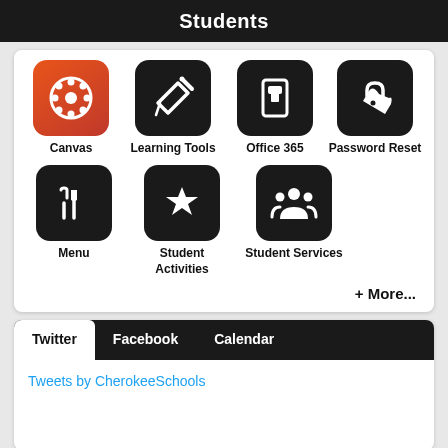Students
[Figure (infographic): Grid of app icons: Canvas, Learning Tools, Office 365, Password Reset, Menu, Student Activities, Student Services]
+ More...
Twitter | Facebook | Calendar
Tweets by CherokeeSchools